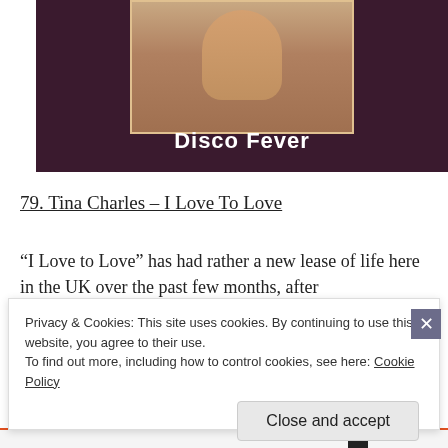[Figure (photo): Album cover image showing a person with text 'Disco Fever' on a dark purple/maroon background]
79. Tina Charles – I Love To Love
“I Love to Love” has had rather a new lease of life here in the UK over the past few months, after
Privacy & Cookies: This site uses cookies. By continuing to use this website, you agree to their use.
To find out more, including how to control cookies, see here: Cookie Policy